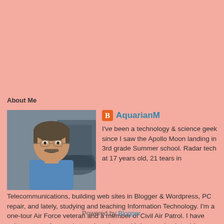About Me
[Figure (photo): Profile photo of a middle-aged man with a mustache wearing a blue shirt, appears to be in a garage or workshop setting]
AquarianM
I've been a technology & science geek since I saw the Apollo Moon landing in 3rd grade Summer school. Radar tech at 17 years old, 21 tears in Telecommunications, building web sites in Blogger & Wordpress, PC repair, and lately, studying and teaching Information Technology. I'm a one-tour Air Force veteran and a member of Civil Air Patrol. I have written poetry for nearly two decades, and I draw and paint a bit. Married for 19 years (so far) with one son and one stepson. I'm also a bookworm from way, way back, and love hard science fiction, space operas, and fantasy.
View my complete profile
Powered by Blogger.